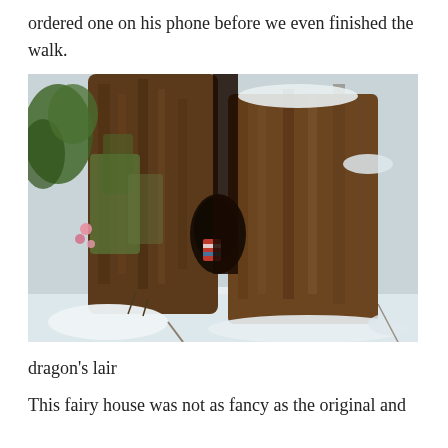ordered one on his phone before we even finished the walk.
[Figure (photo): A close-up photograph of a large tree trunk base surrounded by snow. The bark is textured and mossy green in places, with a dark hollow or cavity visible in the middle of the trunk. Small pink decorative elements are visible on the left side of the trunk. Snow covers the ground around the base and some branches are visible in the background.]
dragon's lair
This fairy house was not as fancy as the original and